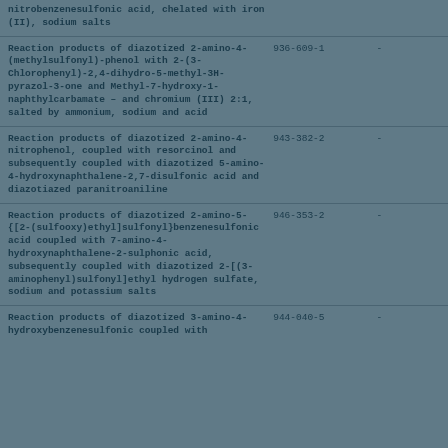nitrobenzenesulfonic acid, chelated with iron (II), sodium salts
Reaction products of diazotized 2-amino-4-(methylsulfonyl)-phenol with 2-(3-Chlorophenyl)-2,4-dihydro-5-methyl-3H-pyrazol-3-one and Methyl-7-hydroxy-1-naphthylcarbamate – and chromium (III) 2:1, salted by ammonium, sodium and acid | 936-609-1 | -
Reaction products of diazotized 2-amino-4-nitrophenol, coupled with resorcinol and subsequently coupled with diazotized 5-amino-4-hydroxynaphthalene-2,7-disulfonic acid and diazotiazed paranitroaniline | 943-382-2 | -
Reaction products of diazotized 2-amino-5-{[2-(sulfooxy)ethyl]sulfonyl}benzenesulfonic acid coupled with 7-amino-4-hydroxynaphthalene-2-sulphonic acid, subsequently coupled with diazotized 2-[(3-aminophenyl)sulfonyl]ethyl hydrogen sulfate, sodium and potassium salts | 946-353-2 | -
Reaction products of diazotized 3-amino-4-hydroxybenzenesulfonic coupled with | 944-040-5 | -